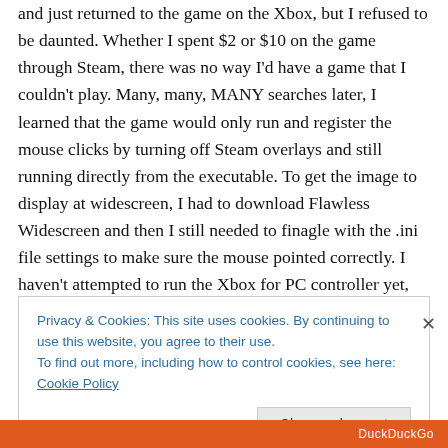and just returned to the game on the Xbox, but I refused to be daunted. Whether I spent $2 or $10 on the game through Steam, there was no way I'd have a game that I couldn't play. Many, many, MANY searches later, I learned that the game would only run and register the mouse clicks by turning off Steam overlays and still running directly from the executable. To get the image to display at widescreen, I had to download Flawless Widescreen and then I still needed to finagle with the .ini file settings to make sure the mouse pointed correctly. I haven't attempted to run the Xbox for PC controller yet, but that,
Privacy & Cookies: This site uses cookies. By continuing to use this website, you agree to their use.
To find out more, including how to control cookies, see here: Cookie Policy
Close and accept
DuckDuckGo